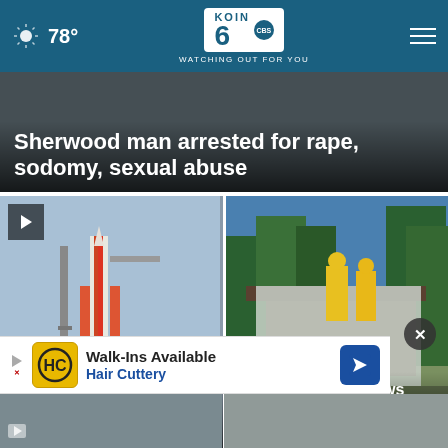78° KOIN 6 CBS WATCHING OUT FOR YOU
Sherwood man arrested for rape, sodomy, sexual abuse
[Figure (photo): Rocket on launch pad (NASA Artemis I)]
Watch: Lightning strikes NASA's Artemis I, moon rocket
[Figure (photo): Workers in yellow gear wrapping building in foil/tarp during Oregon wildfire]
Oregon wildfire grows rapidly, destroys several structures
[Figure (other): Hair Cuttery advertisement: Walk-Ins Available]